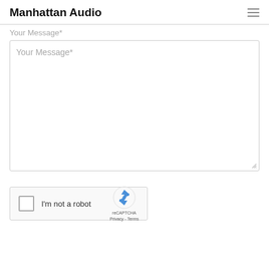Manhattan Audio
Your Message*
Your Message*
[Figure (screenshot): reCAPTCHA widget with checkbox labeled I'm not a robot and reCAPTCHA logo with Privacy and Terms links]